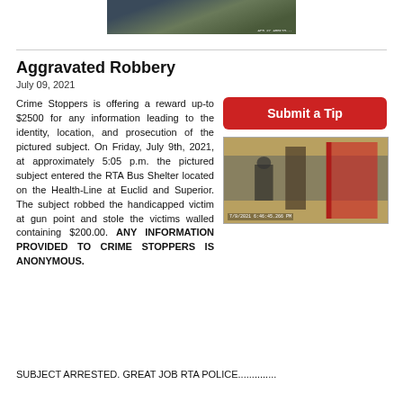[Figure (photo): CCTV surveillance photo at top of page showing people at what appears to be a transit bus shelter]
Aggravated Robbery
July 09, 2021
Crime Stoppers is offering a reward up-to $2500 for any information leading to the identity, location, and prosecution of the pictured subject. On Friday, July 9th, 2021, at approximately 5:05 p.m. the pictured subject entered the RTA Bus Shelter located on the Health-Line at Euclid and Superior. The subject robbed the handicapped victim at gun point and stole the victims walled containing $200.00. ANY INFORMATION PROVIDED TO CRIME STOPPERS IS ANONYMOUS.
[Figure (photo): CCTV security camera image dated 7/9/2021 6:46:45.266 PM showing a subject at the RTA Bus Shelter at Superior Ave]
SUBJECT ARRESTED. GREAT JOB RTA POLICE..............